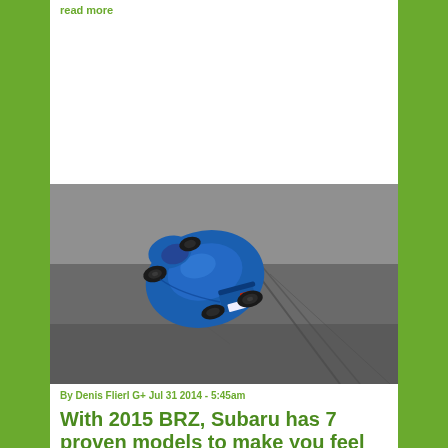read more
[Figure (photo): Aerial/overhead view of a blue Subaru BRZ sports car on a large paved area with tire marks visible on the surface]
By Denis Flierl G+ Jul 31 2014 - 5:45am
With 2015 BRZ, Subaru has 7 proven models to make you feel secure